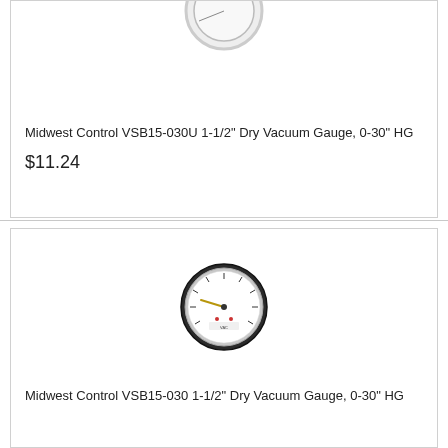[Figure (photo): Partial view of a circular vacuum gauge, showing the top portion with a white face and metallic rim, cropped at the top of the card.]
Midwest Control VSB15-030U 1-1/2" Dry Vacuum Gauge, 0-30" HG
$11.24
[Figure (photo): A 1-1/2 inch dry vacuum gauge with a dark metallic rim and white face, showing a needle and scale markings for 0-30 inches HG vacuum measurement.]
Midwest Control VSB15-030 1-1/2" Dry Vacuum Gauge, 0-30" HG